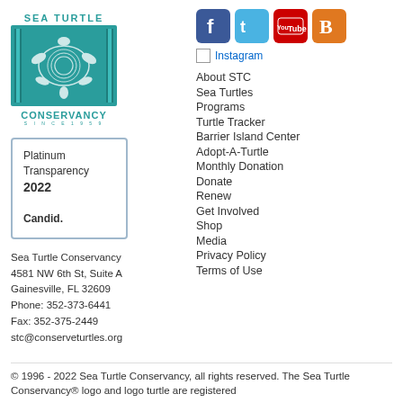[Figure (logo): Sea Turtle Conservancy logo — teal square with sea turtle illustration, text SEA TURTLE above and CONSERVANCY below]
[Figure (infographic): Platinum Transparency 2022 Candid badge — bordered box with text Platinum Transparency 2022 Candid.]
Sea Turtle Conservancy
4581 NW 6th St, Suite A
Gainesville, FL 32609
Phone: 352-373-6441
Fax: 352-375-2449
stc@conserveturtles.org
[Figure (logo): Social media icons: Facebook (blue), Twitter (light blue), YouTube (red/white), Blogger (orange)]
[Figure (illustration): Broken image placeholder for Instagram link]
About STC
Sea Turtles
Programs
Turtle Tracker
Barrier Island Center
Adopt-A-Turtle
Monthly Donation
Donate
Renew
Get Involved
Shop
Media
Privacy Policy
Terms of Use
© 1996 - 2022 Sea Turtle Conservancy, all rights reserved. The Sea Turtle Conservancy® logo and logo turtle are registered trademarks of the organization.